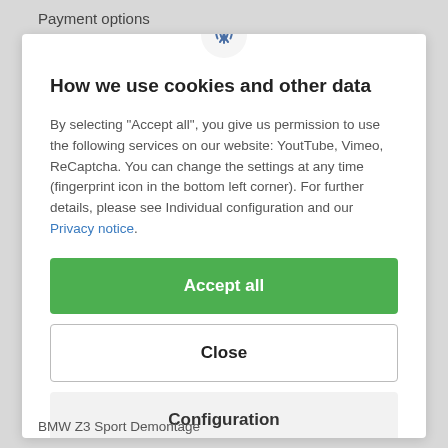Payment options
[Figure (illustration): Fingerprint icon in a circular badge at top center of modal]
How we use cookies and other data
By selecting "Accept all", you give us permission to use the following services on our website: YoutTube, Vimeo, ReCaptcha. You can change the settings at any time (fingerprint icon in the bottom left corner). For further details, please see Individual configuration and our Privacy notice.
Accept all
Close
Configuration
BMW Z3 Sport Demontage